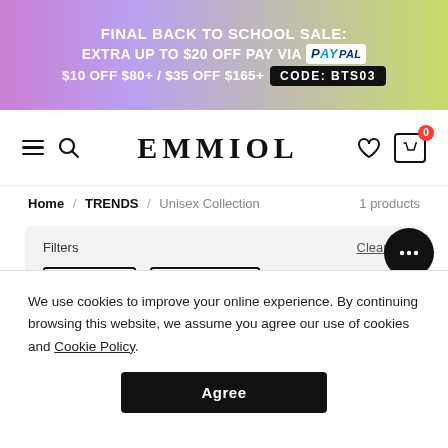FINAL BACK TO SCHOOL SALE: EXTRA UP TO $20 OFF PAY VIA PayPal $10 OFF $80+ / $35 OFF $165+ CODE: BTS03
[Figure (logo): EMMIOL brand logo with hamburger menu, search icon, heart icon, and shopping cart with 0 items]
Home / TRENDS / Unisex Collection   1 products
Filters   Clear All   BLUE ×   50 ~ 100 ×
Category
We use cookies to improve your online experience. By continuing browsing this website, we assume you agree our use of cookies and Cookie Policy.
Agree